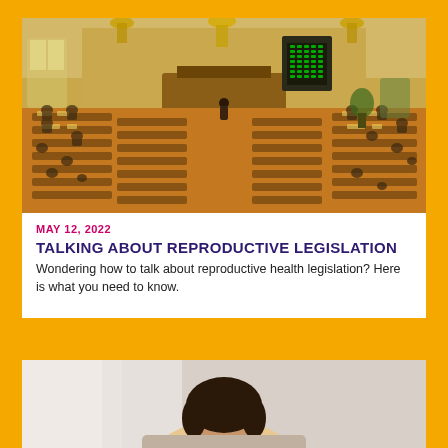[Figure (photo): Interior of a legislative chamber viewed from above, showing rows of legislators seated at desks in a grand ornate room with chandeliers and a speaker's podium at the front.]
MAY 12, 2022
TALKING ABOUT REPRODUCTIVE LEGISLATION
Wondering how to talk about reproductive health legislation? Here is what you need to know.
[Figure (photo): Partial view of a person, likely a woman, with dark hair, visible from shoulders up against a light background.]